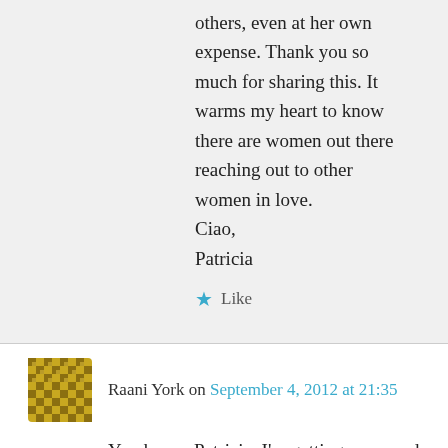others, even at her own expense. Thank you so much for sharing this. It warms my heart to know there are women out there reaching out to other women in love.
Ciao,
Patricia
★ Like
Raani York on September 4, 2012 at 21:35
You know, Patricia, I'm getting more and more "speechless" about those articles. I many ways they not only make me humble and pensive, they also impress and inspire me in many many ways.
Compared to your blog posts I'm feeling like a